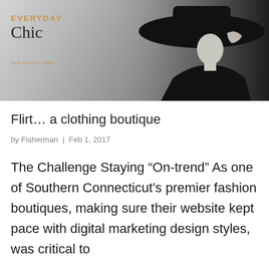[Figure (photo): Banner image with black and white fashion photo of a woman wearing a large wide-brim black hat, overlaid with 'EVERYDAY Chic' branding text and 'See What's New' tagline]
Flirt… a clothing boutique
by Fisherman | Feb 1, 2017
The Challenge Staying “On-trend” As one of Southern Connecticut’s premier fashion boutiques, making sure their website kept pace with digital marketing design styles, was critical to